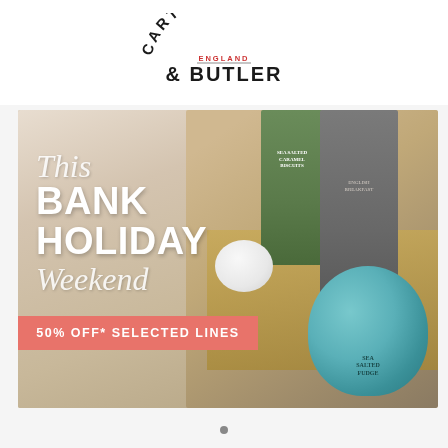[Figure (logo): Cartwright & Butler England logo — arched text CARTWRIGHT at top, ENGLAND in red small caps in center arc, & BUTLER below in large bold serif text]
[Figure (photo): Promotional photo of a Cartwright & Butler gift hamper box on a wooden surface. The hamper contains: a green box of Sea Salted Caramel Biscuits, a grey box of English Breakfast tea, a teal/blue jar of Sea Salted Fudge, a small white jar, straw filling, and a gift card. Overlaid text reads: 'This BANK HOLIDAY Weekend' and a salmon/coral banner reading '50% OFF* SELECTED LINES']